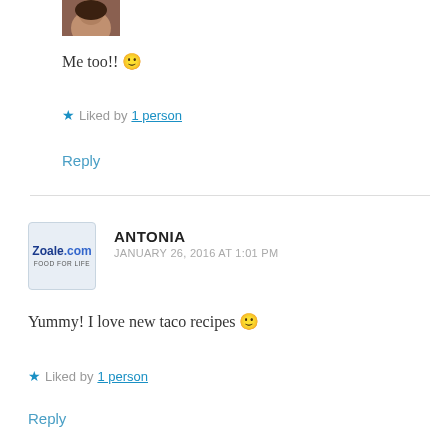[Figure (photo): Partial avatar photo of a person, cropped at top of page]
Me too!! 🙂
★ Liked by 1 person
Reply
[Figure (logo): Zoale.com Food For Life logo avatar, blue/light background]
ANTONIA
JANUARY 26, 2016 AT 1:01 PM
Yummy! I love new taco recipes 🙂
★ Liked by 1 person
Reply